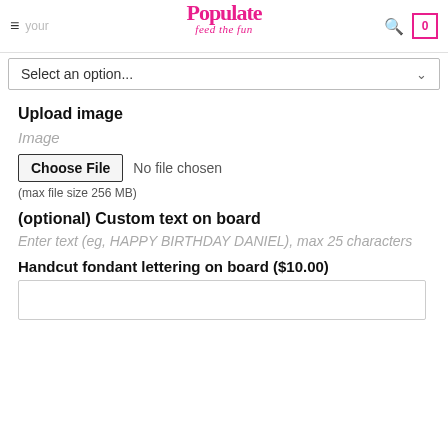≡ your | Populate feed the fun | 🔍 0
Select an option...
Upload image
Image
Choose File  No file chosen
(max file size 256 MB)
(optional) Custom text on board
Enter text (eg, HAPPY BIRTHDAY DANIEL), max 25 characters
Handcut fondant lettering on board ($10.00)